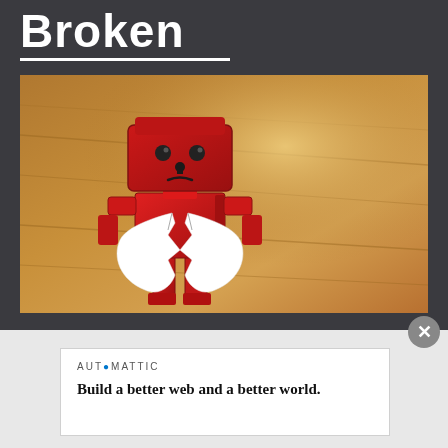Broken
[Figure (photo): A red boxy robot toy (Danbo) holding a broken white paper heart, standing on a wooden floor surface. The image has a warm brown background with bokeh lighting.]
AUTOMATTIC
Build a better web and a better world.